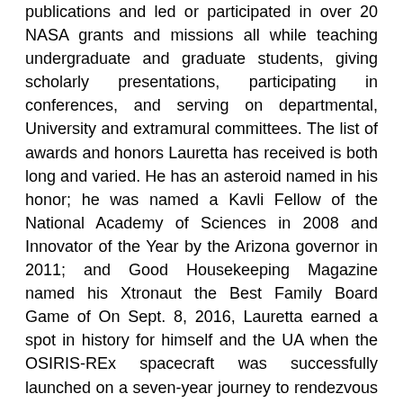publications and led or participated in over 20 NASA grants and missions all while teaching undergraduate and graduate students, giving scholarly presentations, participating in conferences, and serving on departmental, University and extramural committees. The list of awards and honors Lauretta has received is both long and varied. He has an asteroid named in his honor; he was named a Kavli Fellow of the National Academy of Sciences in 2008 and Innovator of the Year by the Arizona governor in 2011; and Good Housekeeping Magazine named his Xtronaut the Best Family Board Game of On Sept. 8, 2016, Lauretta earned a spot in history for himself and the UA when the OSIRIS-REx spacecraft was successfully launched on a seven-year journey to rendezvous with the asteroid Bennu and return a sample of its material. Lauretta is the principal investigator for OSIRIS-REx, the UA s largest-ever space mission. As important as the OSIRIS-REx mission is to furthering our understanding of the early solar system, under Lauretta s leadership it also aims to further public engagement in science. The mission s website features entertaining and engaging videos about planetary science, and mission staff members appear as